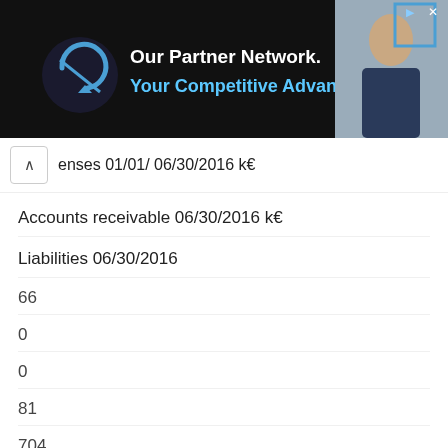[Figure (other): Advertisement banner: dark background with company logo (circular arrow icon), text 'Our Partner Network. Your Competitive Advantage.' in white and blue, and a photo of a woman on the right side.]
enses 01/01/ 06/30/2016 k€
Accounts receivable 06/30/2016 k€
Liabilities 06/30/2016
66
0
0
81
704
0
0